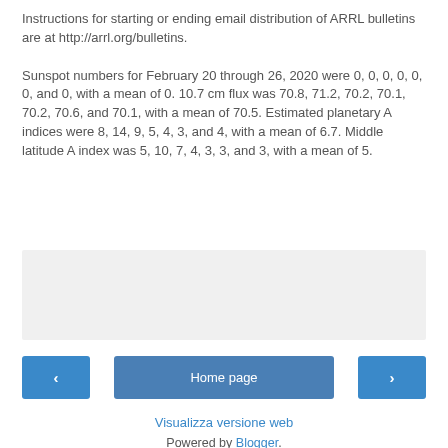Instructions for starting or ending email distribution of ARRL bulletins are at http://arrl.org/bulletins.

Sunspot numbers for February 20 through 26, 2020 were 0, 0, 0, 0, 0, 0, and 0, with a mean of 0. 10.7 cm flux was 70.8, 71.2, 70.2, 70.1, 70.2, 70.6, and 70.1, with a mean of 70.5. Estimated planetary A indices were 8, 14, 9, 5, 4, 3, and 4, with a mean of 6.7. Middle latitude A index was 5, 10, 7, 4, 3, 3, and 3, with a mean of 5.
[Figure (other): Share box with Condividi button]
Home page
Visualizza versione web
Powered by Blogger.